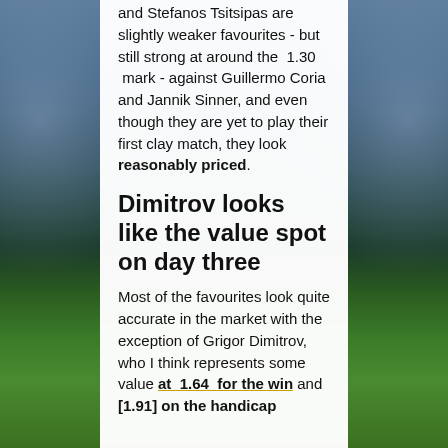and Stefanos Tsitsipas are slightly weaker favourites - but still strong at around the 1.30 mark - against Guillermo Coria and Jannik Sinner, and even though they are yet to play their first clay match, they look reasonably priced.
Dimitrov looks like the value spot on day three
Most of the favourites look quite accurate in the market with the exception of Grigor Dimitrov, who I think represents some value at 1.64 for the win and [1.91] on the handicap